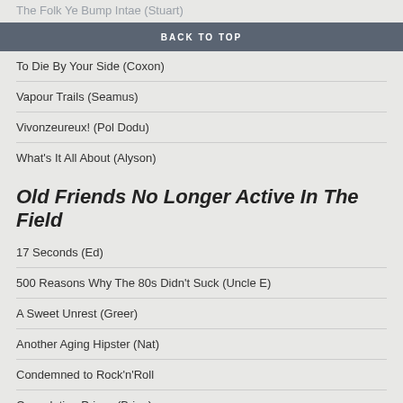The Folk Ye Bump Intae (Stuart)
BACK TO TOP
To Die By Your Side (Coxon)
Vapour Trails (Seamus)
Vivonzeureux! (Pol Dodu)
What's It All About (Alyson)
Old Friends No Longer Active In The Field
17 Seconds (Ed)
500 Reasons Why The 80s Didn't Suck (Uncle E)
A Sweet Unrest (Greer)
Another Aging Hipster (Nat)
Condemned to Rock'n'Roll
Consolation Prizes (Brian)